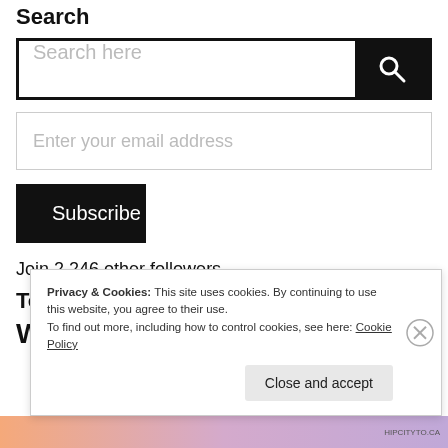Search
[Figure (screenshot): Search input box with 'Search here' placeholder text and black search button with magnifying glass icon]
[Figure (screenshot): Email address input field with placeholder 'Enter your email address']
[Figure (screenshot): Black Subscribe button]
Join 2,246 other followers
Top Posts & Pages
W
Privacy & Cookies: This site uses cookies. By continuing to use this website, you agree to their use.
To find out more, including how to control cookies, see here: Cookie Policy
Close and accept